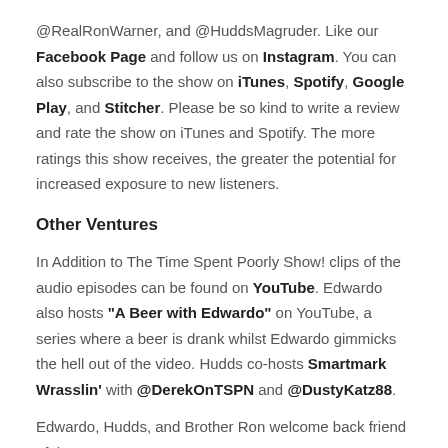@RealRonWarner, and @HuddsMagruder. Like our Facebook Page and follow us on Instagram. You can also subscribe to the show on iTunes, Spotify, Google Play, and Stitcher. Please be so kind to write a review and rate the show on iTunes and Spotify. The more ratings this show receives, the greater the potential for increased exposure to new listeners.
Other Ventures
In Addition to The Time Spent Poorly Show! clips of the audio episodes can be found on YouTube. Edwardo also hosts "A Beer with Edwardo" on YouTube, a series where a beer is drank whilst Edwardo gimmicks the hell out of the video. Hudds co-hosts Smartmark Wrasslin' with @DerekOnTSPN and @DustyKatz88.
Edwardo, Hudds, and Brother Ron welcome back friend of the